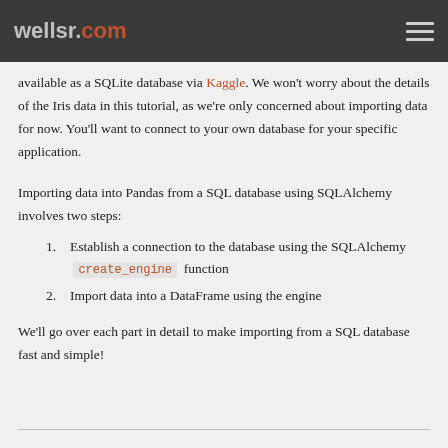wellsr.com
available as a SQLite database via Kaggle. We won't worry about the details of the Iris data in this tutorial, as we're only concerned about importing data for now. You'll want to connect to your own database for your specific application.
Importing data into Pandas from a SQL database using SQLAlchemy involves two steps:
Establish a connection to the database using the SQLAlchemy create_engine function
Import data into a DataFrame using the engine
We'll go over each part in detail to make importing from a SQL database fast and simple!